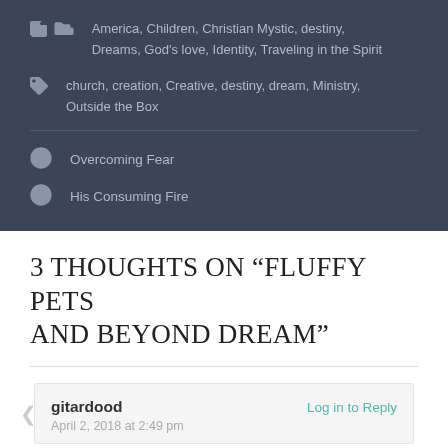America, Children, Christian Mystic, destiny, Dreams, God's love, Identity, Traveling in the Spirit
church, creation, Creative, destiny, dream, Ministry, Outside the Box
Overcoming Fear
His Consuming Fire
3 thoughts on “Fluffy Pets and Beyond Dream”
gitardood
April 2, 2018 at 2:49 pm